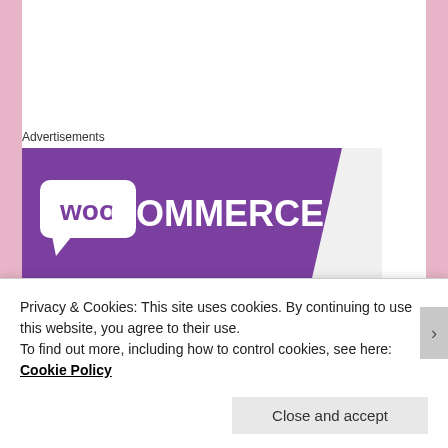Advertisements
[Figure (logo): WooCommerce logo banner — purple ribbon with white 'WOO' in speech bubble and 'COMMERCE' text on grey background]
~♥~ NEW Skin Spicy Bodyshop Maya skin for Genus – Nordic pack – pale tone red brows – 5 single packs – BoM only – @The Makeover Room till August 28th
~♥~ NEW Top MOoH! Sophie with texture hud – August
Privacy & Cookies: This site uses cookies. By continuing to use this website, you agree to their use.
To find out more, including how to control cookies, see here: Cookie Policy
Close and accept